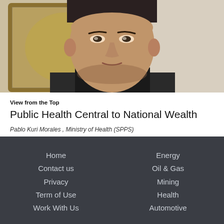[Figure (photo): Close-up portrait photo of a middle-aged man in a suit, with a framed artwork visible in the background.]
View from the Top
Public Health Central to National Wealth
Pablo Kuri Morales , Ministry of Health (SPPS)
The major challenge in Mexico seems to be the rise in non-communicable diseases, as well as the prevalence of emerging and reemerging diseases.
Home
Contact us
Privacy
Term of Use
Work With Us
Energy
Oil & Gas
Mining
Health
Automotive